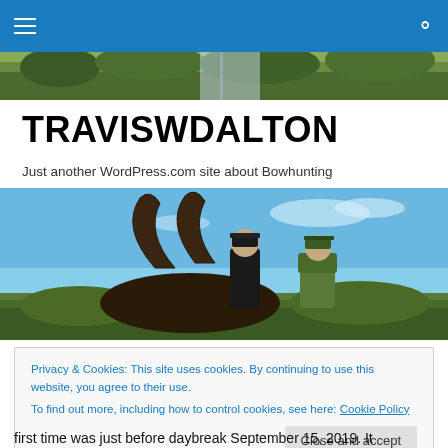Navigation bar with hamburger menu and search icon
[Figure (photo): Narrow horizontal banner photo strip showing treetops and sky]
TRAVISWDALTON
Just another WordPress.com site about Bowhunting
[Figure (photo): Two hunters posing with a sable antelope with large curved horns against a blue sky background]
Privacy & Cookies: This site uses cookies. By continuing to use this website, you agree to their use.
To find out more, including how to control cookies, see here: Cookie Policy
Close and accept
first time was just before daybreak September 15, 2019. It